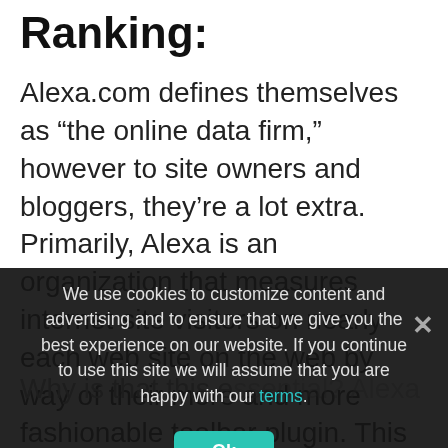Ranking:
Alexa.com defines themselves as “the online data firm,” however to site owners and bloggers, they’re a lot extra. Primarily, Alexa is an organization that measures internet site visitors on nearly each web site on the web by way of their more and more fashionable toolbar plugin. This turns into an essential component in
We use cookies to customize content and advertising and to ensure that we give you the best experience on our website. If you continue to use this site we will assume that you are happy with our terms.
Ok
Why is that this essential? Alexa